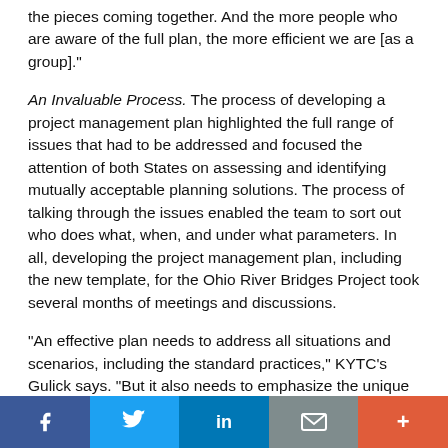the pieces coming together. And the more people who are aware of the full plan, the more efficient we are [as a group]."
An Invaluable Process. The process of developing a project management plan highlighted the full range of issues that had to be addressed and focused the attention of both States on assessing and identifying mutually acceptable planning solutions. The process of talking through the issues enabled the team to sort out who does what, when, and under what parameters. In all, developing the project management plan, including the new template, for the Ohio River Bridges Project took several months of meetings and discussions.
"An effective plan needs to address all situations and scenarios, including the standard practices," KYTC's Gulick says. "But it also needs to emphasize the unique or exceptional efforts and the creative strategies that will be employed to address problems. In addition, the
[Figure (infographic): Social media sharing bar with buttons for Facebook (blue), Twitter (light blue), LinkedIn (dark blue), Email (grey), and More (orange-red)]